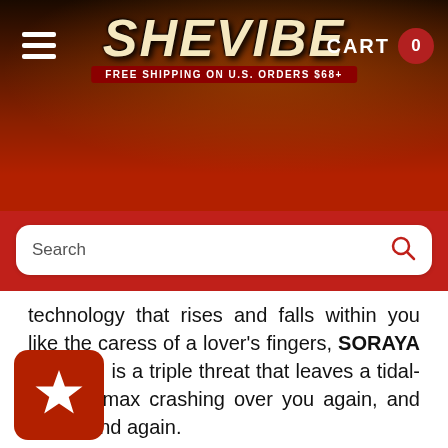[Figure (screenshot): SheVibe website header with logo, hamburger menu, cart icon showing 0]
[Figure (screenshot): Search bar on red background]
technology that rises and falls within you like the caress of a lover's fingers, SORAYA WAVE™ is a triple threat that leaves a tidal-wave climax crashing over you again, and again, and again.
Sculpted tip with powerful pulsations for enhanced G-spot sensations
-powerful & flexible body offers clitoral stimulation ll body types.
y safe materials: ABS plastic & silicone
Rechargeable (diving button & low battery...)